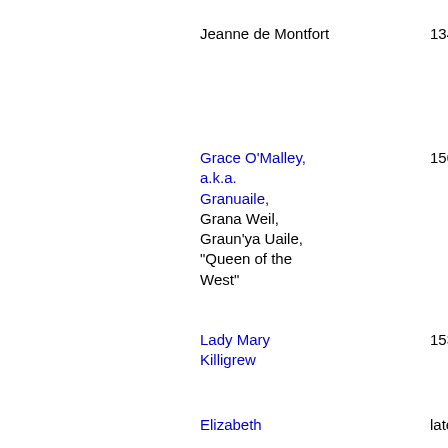Jeanne de Montfort
1343
Grace O'Malley, a.k.a. Granuaile, Grana Weil, Graun'ya Uaile, "Queen of the West"
1500s
Lady Mary Killigrew
1530-1570
Elizabeth
late 1500s